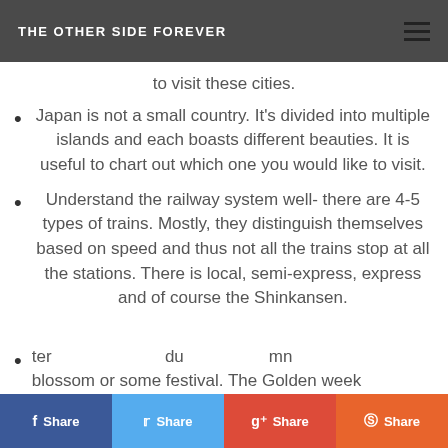THE OTHER SIDE FOREVER
to visit these cities.
Japan is not a small country. It's divided into multiple islands and each boasts different beauties. It is useful to chart out which one you would like to visit.
Understand the railway system well- there are 4-5 types of trains. Mostly, they distinguish themselves based on speed and thus not all the trains stop at all the stations. There is local, semi-express, express and of course the Shinkansen.
… during cherry blossom or some festival. The Golden week…